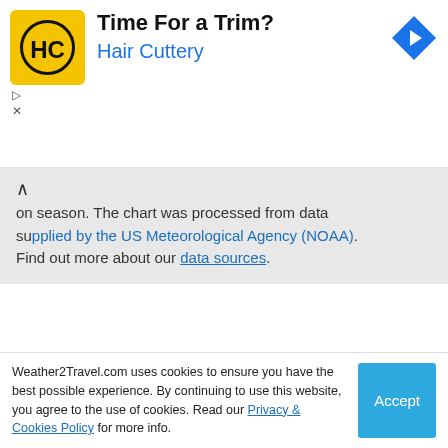[Figure (advertisement): Hair Cuttery ad banner with yellow HC logo, 'Time For a Trim?' headline, 'Hair Cuttery' subtext in blue, and blue diamond direction sign icon on right]
on season. The chart was processed from data supplied by the US Meteorological Agency (NOAA). Find out more about our data sources.
More about tropical storms
[Figure (advertisement): TUI holiday ad with blue background. Title: 'TUI: up to 10% off holidays booked online'. TUI logo in red on blue background. Bullet points: Book online with TUI & save up to 10% on holidays; FREE child places available for...]
Weather2Travel.com uses cookies to ensure you have the best possible experience. By continuing to use this website, you agree to the use of cookies. Read our Privacy & Cookies Policy for more info.